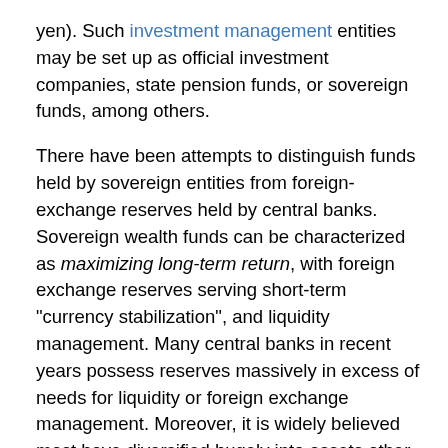yen). Such investment management entities may be set up as official investment companies, state pension funds, or sovereign funds, among others.
There have been attempts to distinguish funds held by sovereign entities from foreign-exchange reserves held by central banks. Sovereign wealth funds can be characterized as maximizing long-term return, with foreign exchange reserves serving short-term "currency stabilization", and liquidity management. Many central banks in recent years possess reserves massively in excess of needs for liquidity or foreign exchange management. Moreover, it is widely believed most have diversified hugely into assets other than short-term, highly liquid monetary ones, though almost no data is publicly available to back up this assertion.